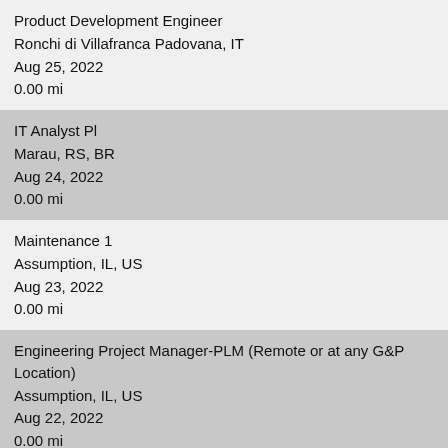Product Development Engineer
Ronchi di Villafranca Padovana, IT
Aug 25, 2022
0.00 mi
IT Analyst Pl
Marau, RS, BR
Aug 24, 2022
0.00 mi
Maintenance 1
Assumption, IL, US
Aug 23, 2022
0.00 mi
Engineering Project Manager-PLM (Remote or at any G&P Location)
Assumption, IL, US
Aug 22, 2022
0.00 mi
Industrial Engineer
Assumption, IL, US
Aug 22, 2022
0.00 mi
Bin line Operator (3rd shift 11pm-7am)